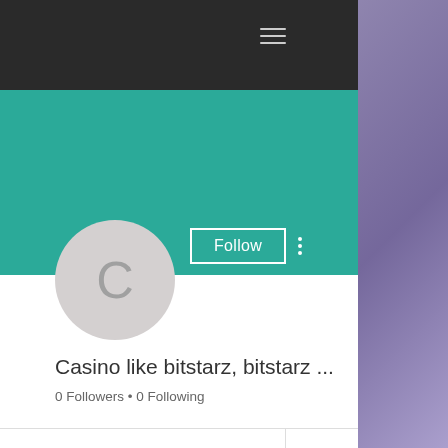[Figure (screenshot): User profile page screenshot showing dark header, teal banner, avatar circle with letter C, Follow button, profile name 'Casino like bitstarz, bitstarz ...', 0 Followers • 0 Following, and Profile section with join date Jun 21, 2022]